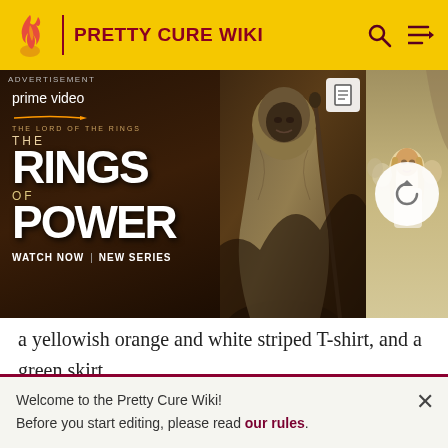PRETTY CURE WIKI
[Figure (photo): Advertisement banner for Amazon Prime Video's 'The Lord of the Rings: The Rings of Power' - showing title text on left, a robed figure in center, and group of characters on right. Text reads: ADVERTISEMENT, prime video, THE LORD OF THE RINGS THE RINGS OF POWER, WATCH NOW | NEW SERIES]
a yellowish orange and white striped T-shirt, and a green skirt.
As Cure Yum-Yum, her eyes brighten while her hair turns yellow and her braids become tightly curled tails hanging from large red buns. She also gains a pink and yellow cap
Welcome to the Pretty Cure Wiki!
Before you start editing, please read our rules.